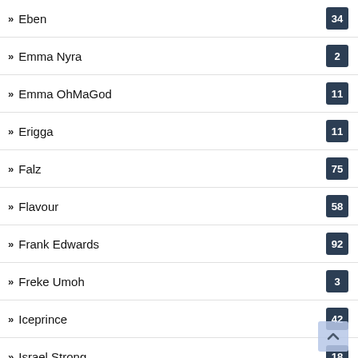Eben
Emma Nyra
Emma OhMaGod
Erigga
Falz
Flavour
Frank Edwards
Freke Umoh
Iceprince
Israel Strong
Iyanya
Jaymikee
Jaywillz